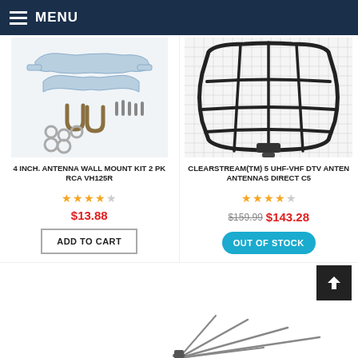MENU
[Figure (photo): 4 inch antenna wall mount kit hardware including metal brackets, U-bolts, washers, nuts, and screws on white background]
4 INCH. ANTENNA WALL MOUNT KIT 2 PK RCA VH125R
★★★★☆
$13.88
ADD TO CART
[Figure (photo): ClearStream 5 UHF-VHF DTV antenna on a grid background, showing curved black frame antenna design]
CLEARSTREAM(TM) 5 UHF-VHF DTV ANTEN ANTENNAS DIRECT C5
★★★★☆
$159.99 $143.28
OUT OF STOCK
[Figure (photo): Partial view of a TV antenna with thin rods at the bottom of the page]